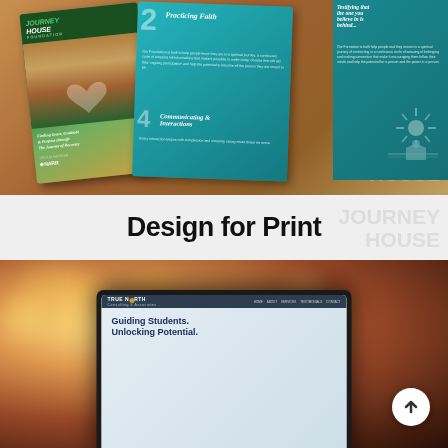[Figure (photo): Journey House Foundation brochures fanned out on a table. Left panel shows Journey House Foundation logo and 'Finding Grace, Gratitude & Purpose through the Journey of Recovery' tagline with NARR logo. Center teal panel shows numbered sections '2 Practicing Faith' and '4 Communicating & Interactions'. Right teal panel shows additional numbered content. A sunburst logo watermark is visible on the right side.]
Design for Print
[Figure (photo): A laptop on a blurred bokeh background showing the True North Consulting & Associates website. The site header reads 'TRUE NORTH Consulting & Associates' with navigation links HOME, ABOUT, SERVICES, TESTIMONIALS, CONTACT. The hero section shows 'Guiding Students. Unlocking Potential.' A scroll-to-top arrow button is visible in the bottom right.]